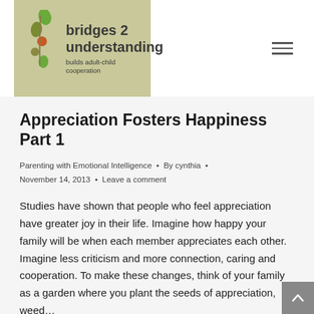[Figure (logo): Bridges 2 Understanding logo — olive/green background with decorative leaf illustration. Text reads 'bridges 2 understanding' and 'builds adult-child cooperation'.]
Appreciation Fosters Happiness Part 1
Parenting with Emotional Intelligence • By cynthia • November 14, 2013 • Leave a comment
Studies have shown that people who feel appreciation have greater joy in their life. Imagine how happy your family will be when each member appreciates each other. Imagine less criticism and more connection, caring and cooperation. To make these changes, think of your family as a garden where you plant the seeds of appreciation, weed…